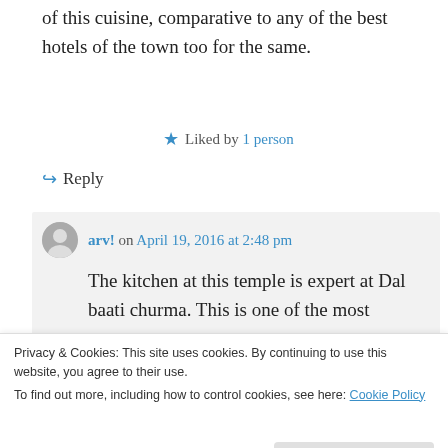of this cuisine, comparative to any of the best hotels of the town too for the same.
★ Liked by 1 person
↪ Reply
arv! on April 19, 2016 at 2:48 pm
The kitchen at this temple is expert at Dal baati churma. This is one of the most authentic ones you'll ever come across in
★ Liked by 1 person
Privacy & Cookies: This site uses cookies. By continuing to use this website, you agree to their use.
To find out more, including how to control cookies, see here: Cookie Policy